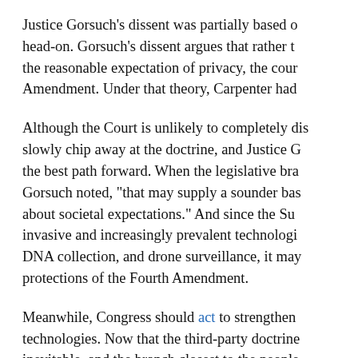Justice Gorsuch's dissent was partially based on head-on. Gorsuch's dissent argues that rather than the reasonable expectation of privacy, the court Amendment. Under that theory, Carpenter had
Although the Court is unlikely to completely dis slowly chip away at the doctrine, and Justice G the best path forward. When the legislative bra Gorsuch noted, "that may supply a sounder bas about societal expectations." And since the Su invasive and increasingly prevalent technologi DNA collection, and drone surveillance, it may protections of the Fourth Amendment.
Meanwhile, Congress should act to strengthen technologies. Now that the third-party doctrine inevitable, and the branch closest to the people expectations.